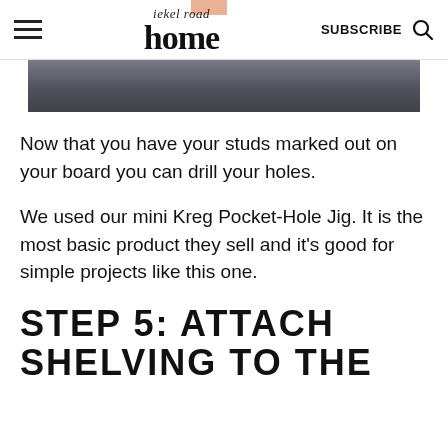iekel road home | SUBSCRIBE
[Figure (photo): Cropped photo strip showing a close-up of a board with dark objects/tools, partially visible at top of page]
Now that you have your studs marked out on your board you can drill your holes.
We used our mini Kreg Pocket-Hole Jig. It is the most basic product they sell and it's good for simple projects like this one.
STEP 5: ATTACH SHELVING TO THE